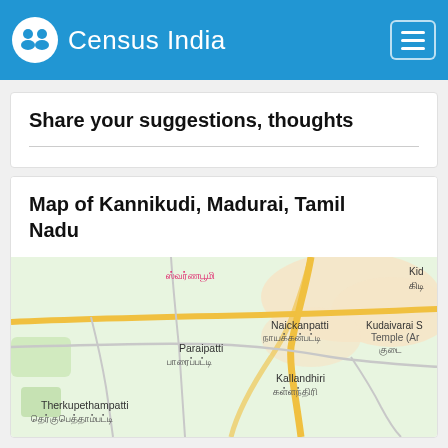Census India
Share your suggestions, thoughts
Map of Kannikudi, Madurai, Tamil Nadu
[Figure (map): Map showing Kannikudi area in Madurai, Tamil Nadu, India, with place names in English and Tamil script including Naickanpatti, Paraipatti, Kallandhiri, Therkupethampatti, Kudaivarai S Temple, and others]